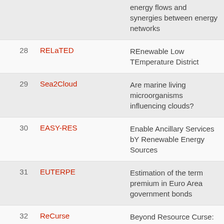| # | Name | Description |
| --- | --- | --- |
|  |  | energy flows and synergies between energy networks |
| 28 | RELaTED | REnewable Low TEmperature District |
| 29 | Sea2Cloud | Are marine living microorganisms influencing clouds? |
| 30 | EASY-RES | Enable Ancillary Services bY Renewable Energy Sources |
| 31 | EUTERPE | Estimation of the term premium in Euro Area government bonds |
| 32 | ReCurse | Beyond Resource Curse: examining the socio-environmental impact of |